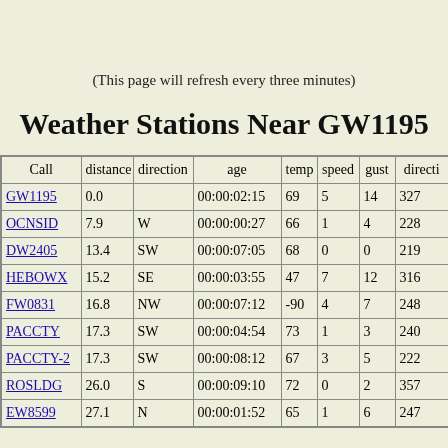(This page will refresh every three minutes)
Weather Stations Near GW1195
| Call | distance | direction | age | temp | speed | gust | directi |
| --- | --- | --- | --- | --- | --- | --- | --- |
| GW1195 | 0.0 |  | 00:00:02:15 | 69 | 5 | 14 | 327 |
| OCNSID | 7.9 | W | 00:00:00:27 | 66 | 1 | 4 | 228 |
| DW2405 | 13.4 | SW | 00:00:07:05 | 68 | 0 | 0 | 219 |
| HEBOWX | 15.2 | SE | 00:00:03:55 | 47 | 7 | 12 | 316 |
| FW0831 | 16.8 | NW | 00:00:07:12 | -90 | 4 | 7 | 248 |
| PACCTY | 17.3 | SW | 00:00:04:54 | 73 | 1 | 3 | 240 |
| PACCTY-2 | 17.3 | SW | 00:00:08:12 | 67 | 3 | 5 | 222 |
| ROSLDG | 26.0 | S | 00:00:09:10 | 72 | 0 | 2 | 357 |
| EW8599 | 27.1 | N | 00:00:01:52 | 65 | 1 | 6 | 247 |